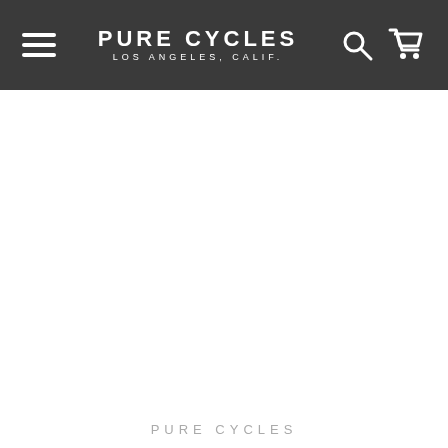PURE CYCLES LOS ANGELES, CALIF.
LABOR DAY SALE - GET UP TO 15% OFF
[Figure (screenshot): White blank content area (image not loaded)]
PURE CYCLES